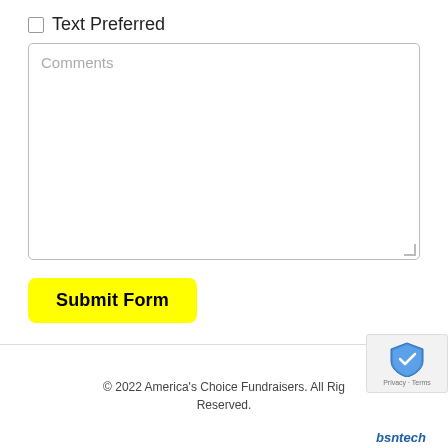☐ Text Preferred
Comments
Submit Form
© 2022 America's Choice Fundraisers. All Rights Reserved.
[Figure (logo): reCAPTCHA badge with shield icon and Privacy · Terms text]
[Figure (logo): bsntech logo in blue italic text]